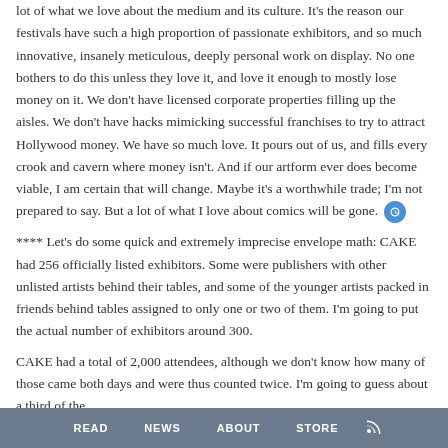lot of what we love about the medium and its culture. It's the reason our festivals have such a high proportion of passionate exhibitors, and so much innovative, insanely meticulous, deeply personal work on display. No one bothers to do this unless they love it, and love it enough to mostly lose money on it. We don't have licensed corporate properties filling up the aisles. We don't have hacks mimicking successful franchises to try to attract Hollywood money. We have so much love. It pours out of us, and fills every crook and cavern where money isn't. And if our artform ever does become viable, I am certain that will change. Maybe it's a worthwhile trade; I'm not prepared to say. But a lot of what I love about comics will be gone.
**** Let's do some quick and extremely imprecise envelope math: CAKE had 256 officially listed exhibitors. Some were publishers with other unlisted artists behind their tables, and some of the younger artists packed in friends behind tables assigned to only one or two of them. I'm going to put the actual number of exhibitors around 300.
CAKE had a total of 2,000 attendees, although we don't know how many of those came both days and were thus counted twice. I'm going to guess about a third of the
READ   NEWS   ABOUT   STORE